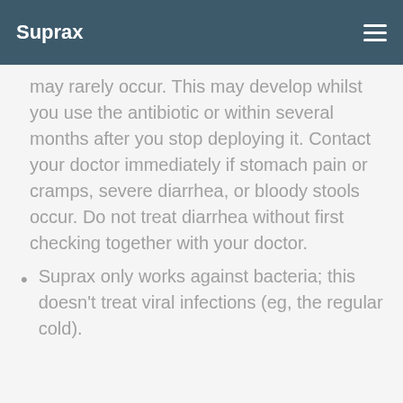Suprax
may rarely occur. This may develop whilst you use the antibiotic or within several months after you stop deploying it. Contact your doctor immediately if stomach pain or cramps, severe diarrhea, or bloody stools occur. Do not treat diarrhea without first checking together with your doctor.
Suprax only works against bacteria; this doesn't treat viral infections (eg, the regular cold).